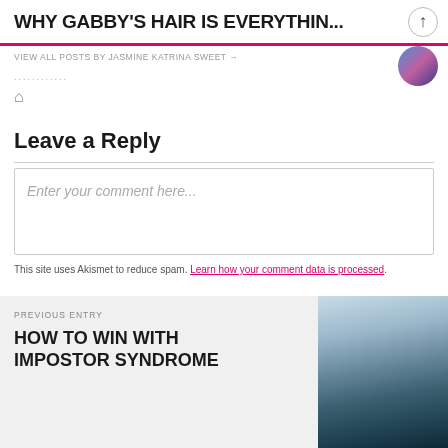WHY GABBY'S HAIR IS EVERYTHIN...
VIEW ALL POSTS BY JASMINE KATRINA SWEET →
Leave a Reply
Enter your comment here...
This site uses Akismet to reduce spam. Learn how your comment data is processed.
PREVIOUS ENTRY
HOW TO WIN WITH IMPOSTOR SYNDROME
[Figure (photo): Thumbnail image of a person in a bathroom setting, used as preview for the previous blog entry]